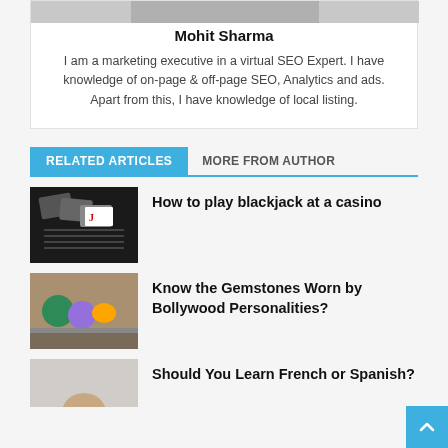[Figure (photo): Partial photo of Mohit Sharma at top of author box]
Mohit Sharma
I am a marketing executive in a virtual SEO Expert. I have knowledge of on-page & off-page SEO, Analytics and ads. Apart from this, I have knowledge of local listing.
RELATED ARTICLES
MORE FROM AUTHOR
[Figure (photo): Playing cards including a Jack card on a black background]
How to play blackjack at a casino
[Figure (photo): Colorful gemstones on a rocky surface]
Know the Gemstones Worn by Bollywood Personalities?
[Figure (photo): Partial photo, person visible at bottom]
Should You Learn French or Spanish?